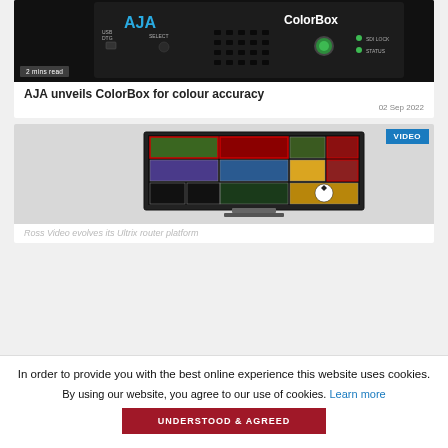[Figure (photo): AJA ColorBox hardware device, black rectangular box with AJA logo and ColorBox label on front, USB/DIG and SELECT ports visible, green power button and SDI LOCK/STATUS LEDs]
2 mins read
AJA unveils ColorBox for colour accuracy
02 Sep 2022
[Figure (screenshot): Monitor multiviewer display showing multiple soccer/football video feeds in a grid layout with red borders, black panels and a soccer ball visible]
VIDEO
Ross Video evolves its Ultrix router platform
In order to provide you with the best online experience this website uses cookies.
By using our website, you agree to our use of cookies. Learn more
UNDERSTOOD & AGREED